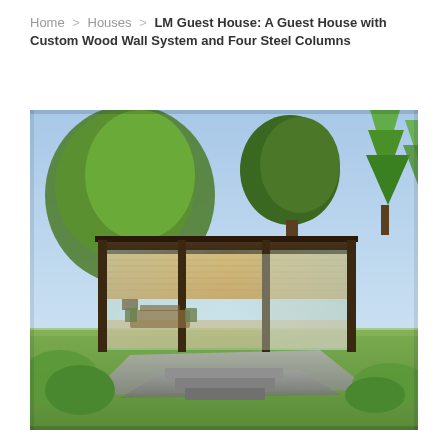Home > Houses > LM Guest House: A Guest House with Custom Wood Wall System and Four Steel Columns
[Figure (photo): Exterior photograph of the LM Guest House — a modernist single-story glass pavilion with a flat dark roof supported by steel columns, large floor-to-ceiling glass walls revealing a wood-paneled interior with furniture, set on a stone terrace amid lush green trees and manicured grass.]